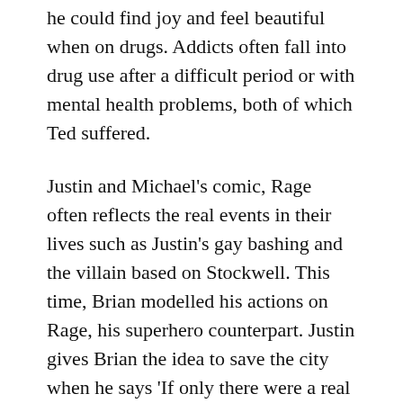he could find joy and feel beautiful when on drugs. Addicts often fall into drug use after a difficult period or with mental health problems, both of which Ted suffered.
Justin and Michael's comic, Rage often reflects the real events in their lives such as Justin's gay bashing and the villain based on Stockwell. This time, Brian modelled his actions on Rage, his superhero counterpart. Justin gives Brian the idea to save the city when he says 'If only there were a real life Rage.' Brian knows that he is the only one of his friends that has the power, connections and money to pull off the advert. He choses to sacrifice everything like Rage would to create a better life for his friends